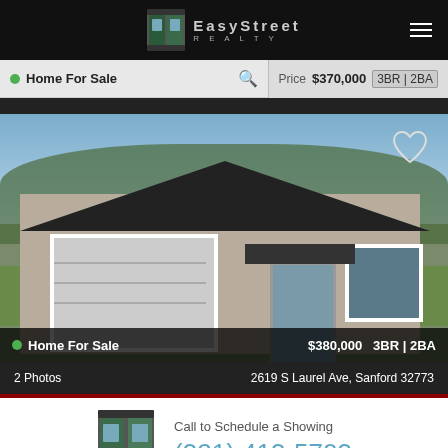[Figure (logo): EasyStreet Realty logo with icon on black header bar]
Home For Sale   Price $370,000  3BR | 2BA
[Figure (photo): Exterior photo of a single-story home with beige stucco, black roof, white garage door, small front yard with grass. Heart icon in upper right.]
Home For Sale   $380,000  3BR | 2BA
2 Photos   2619 S Laurel Ave, Sanford 32773
Call to Schedule a Showing
(321) 413-5703